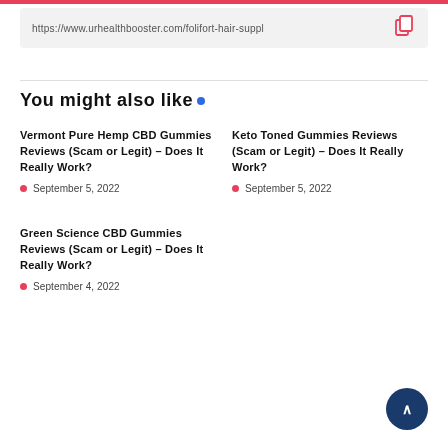https://www.urhealthbooster.com/folifort-hair-suppl
You might also like
Vermont Pure Hemp CBD Gummies Reviews (Scam or Legit) – Does It Really Work?
September 5, 2022
Keto Toned Gummies Reviews (Scam or Legit) – Does It Really Work?
September 5, 2022
Green Science CBD Gummies Reviews (Scam or Legit) – Does It Really Work?
September 4, 2022